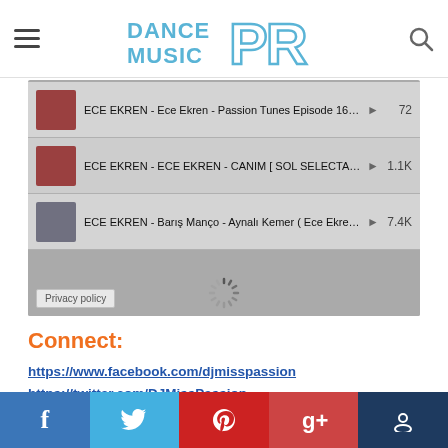Dance Music PR - header with hamburger menu and search icon
[Figure (screenshot): Music widget showing three ECE EKREN tracks with thumbnails, play buttons, and play counts (72, 1.1K, 7.4K). A privacy policy label and loading spinner are visible.]
Connect:
https://www.facebook.com/djmisspassion
https://twitter.com/DJMissPassion
http://www.djmisspassion.com
[wp_ad_camp_5]
Social share bar: Facebook, Twitter, Pinterest, Google+, Comments